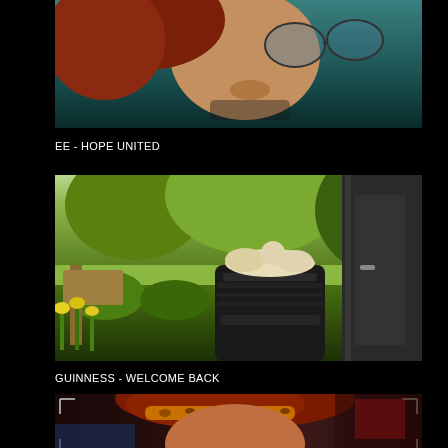[Figure (photo): Close-up photo of a person's face (upside down or at an angle), with red/auburn hair visible, wearing glasses, teal/blue background]
EE - HOPE UNITED
[Figure (photo): Garden scene with a white cat sitting on top of a dark compost bin, surrounded by plants, daffodils in the foreground, a door visible on the right side]
GUINNESS - WELCOME BACK
[Figure (photo): Partially visible photo of a woman with red hair and leopard-print headband, appears to be a camera/filming context with corner frame markers visible]